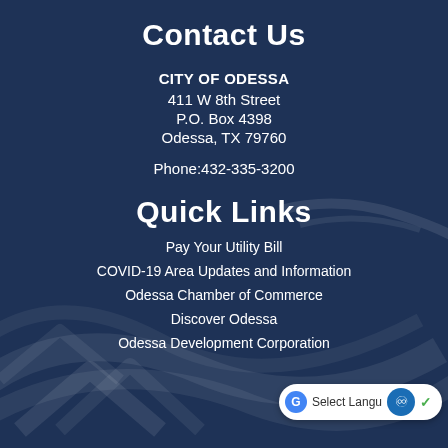Contact Us
CITY OF ODESSA
411 W 8th Street
P.O. Box 4398
Odessa, TX 79760
Phone:432-335-3200
Quick Links
Pay Your Utility Bill
COVID-19 Area Updates and Information
Odessa Chamber of Commerce
Discover Odessa
Odessa Development Corporation